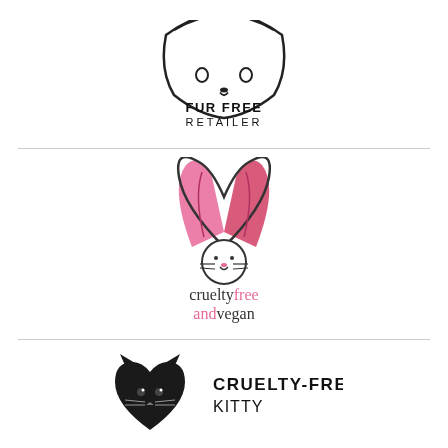[Figure (logo): Fur Free Retailer logo with partial animal face outline and bold text FUR FREE RETAILER]
[Figure (logo): Cruelty Free and Vegan logo with bunny face and pink heart-shaped ears, text reads cruelty free and vegan]
[Figure (logo): Cruelty-Free Kitty logo with black heart-shaped cat silhouette and bold text CRUELTY-FREE KITTY]